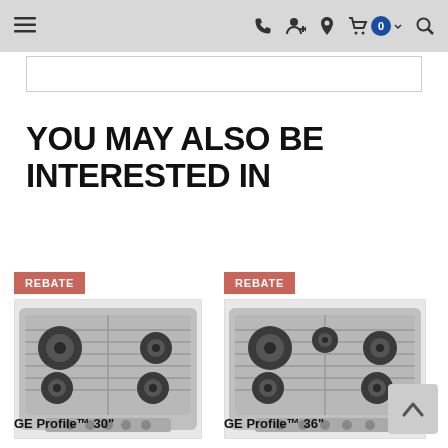Navigation bar with menu, phone, account, location, cart (0), and search icons
YOU MAY ALSO BE INTERESTED IN
[Figure (photo): GE Profile 30 inch gas cooktop with stainless steel grates, showing 4 burners, with REBATE badge]
GE Profile™ 30"
[Figure (photo): GE Profile 36 inch gas cooktop with stainless steel grates, showing 5 burners, with REBATE badge]
GE Profile™ 36"